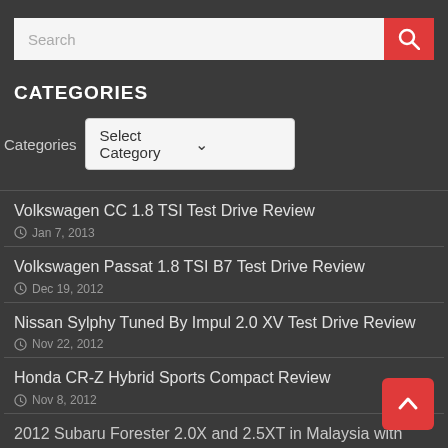[Figure (screenshot): Search bar with white input field and red search button with magnifying glass icon]
CATEGORIES
Categories   Select Category
Volkswagen CC 1.8 TSI Test Drive Review
 Jan 7, 2013
Volkswagen Passat 1.8 TSI B7 Test Drive Review
 Dec 19, 2012
Nissan Sylphy Tuned By Impul 2.0 XV Test Drive Review
 Nov 22, 2012
Honda CR-Z Hybrid Sports Compact Review
 Nov 8, 2012
2012 Subaru Forester 2.0X and 2.5XT in Malaysia with